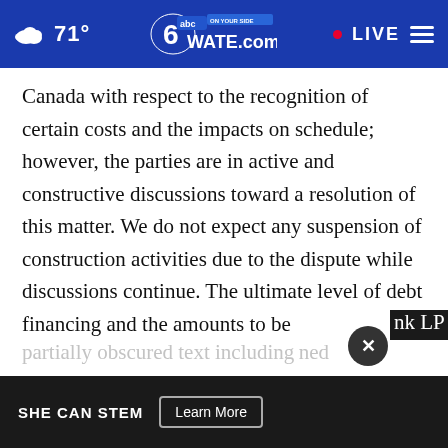71° WATE.com • LIVE
Canada with respect to the recognition of certain costs and the impacts on schedule; however, the parties are in active and constructive discussions toward a resolution of this matter. We do not expect any suspension of construction activities due to the dispute while discussions continue. The ultimate level of debt financing and the amounts to be [obscured] nk LP [partially obscured] ned
[Figure (screenshot): Advertisement bar at bottom: SHE CAN STEM with Learn More button. Close (X) button overlay above ad.]